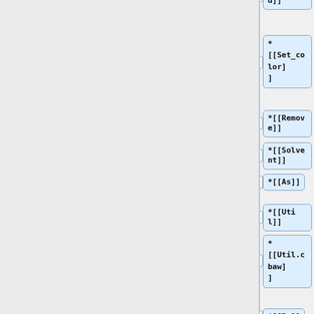*[[Load]]
*
[[Set_color]
]
*[[Remove]]
*[[Solvent]]
*[[As]]
*[[Util]]
*
[[Util.cbaw]
]
*[[Bg]]
*
[[Light_Coun
t]]
*